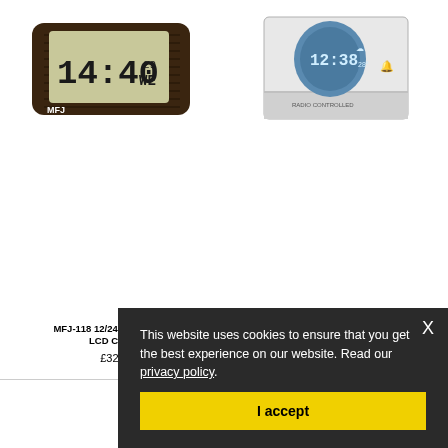[Figure (photo): MFJ-118 digital clock with dark brown/black body showing 14:40 WE on LCD display]
[Figure (photo): Scientific radio controlled travel alarm clock, white rectangular unit with round display showing 12:38]
MFJ-118 12/24 HOUR GIANT LCD CLOCK
SCIENTIFIC RADIO CONTROLLED TRAVEL ALARM CLOCK
£32.95
£29.95
This website uses cookies to ensure that you get the best experience on our website. Read our privacy policy.
I accept